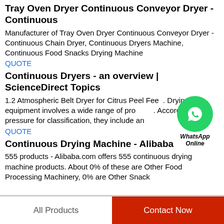Tray Oven Dryer Continuous Conveyor Dryer - Continuous
Manufacturer of Tray Oven Dryer Continuous Conveyor Dryer - Continuous Chain Dryer, Continuous Dryers Machine, Continuous Food Snacks Drying Machine
QUOTE
Continuous Dryers - an overview | ScienceDirect Topics
1.2 Atmospheric Belt Dryer for Citrus Peel Feed. Drying equipment involves a wide range of products. According to the pressure for classification, they include an
QUOTE
Continuous Drying Machine - Alibaba
555 products - Alibaba.com offers 555 continuous drying machine products. About 0% of these are Other Food Processing Machinery, 0% are Other Snack
[Figure (logo): WhatsApp Online badge - green circle with phone icon, text 'WhatsApp Online']
All Products | Contact Now